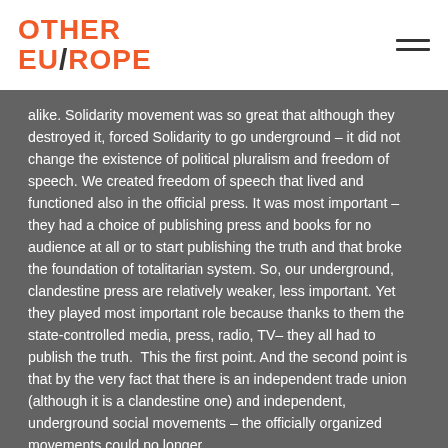OTHER EU/ROPE
alike. Solidarity movement was so great that although they destroyed it, forced Solidarity to go underground – it did not change the existence of political pluralism and freedom of speech. We created freedom of speech that lived and functioned also in the official press. It was most important – they had a choice of publishing press and books for no audience at all or to start publishing the truth and that broke the foundation of totalitarian system. So, our underground, clandestine press are relatively weaker, less important. Yet they played most important role because thanks to them the state-controlled media, press, radio, TV– they all had to publish the truth.  This the first point. And the second point is that by the very fact that there is an independent trade union (although it is a clandestine one) and independent, underground social movements – the officially organized movements could no longer…